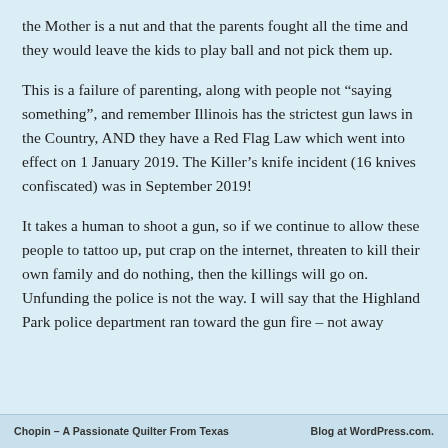the Mother is a nut and that the parents fought all the time and they would leave the kids to play ball and not pick them up.
This is a failure of parenting, along with people not “saying something”, and remember Illinois has the strictest gun laws in the Country, AND they have a Red Flag Law which went into effect on 1 January 2019. The Killer’s knife incident (16 knives confiscated) was in September 2019!
It takes a human to shoot a gun, so if we continue to allow these people to tattoo up, put crap on the internet, threaten to kill their own family and do nothing, then the killings will go on. Unfunding the police is not the way. I will say that the Highland Park police department ran toward the gun fire – not away
Chopin – A Passionate Quilter From Texas          Blog at WordPress.com.